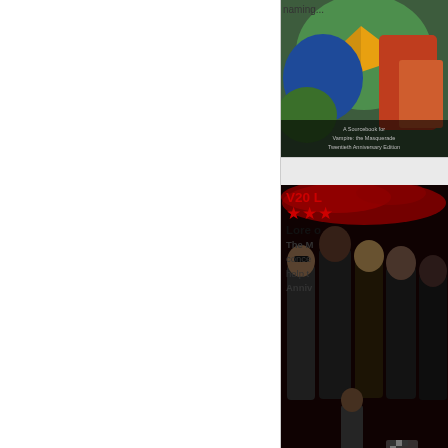[Figure (photo): Partial book cover image at top, colorful illustration with bird and figures, text at bottom reads 'A Sourcebook for Vampire: the Masquerade Twentieth Anniversary Edition']
naming...
[Figure (photo): Book cover for 'Lore of the Clans' - V20, dark red and black, group of vampire characters, text 'LORE OF THE CLANS' at bottom]
V20 L
★★★
Lore of
The M...concepts...help th...Anniversary
[Figure (photo): Book cover for 'The Art of Changing Breeds' - W20, fantasy illustration with werewolf/animal creature in fire]
W20
★★★
The A...color a...features...commentary...various